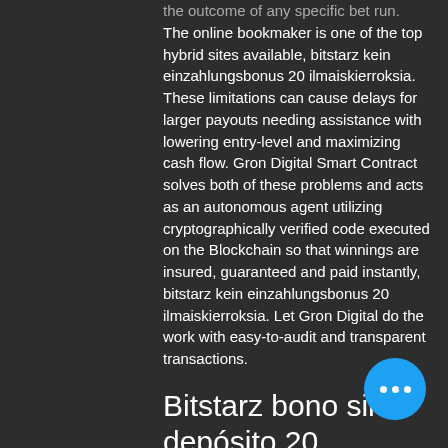the outcome of any specific bet run. The online bookmaker is one of the top hybrid sites available, bitstarz kein einzahlungsbonus 20 ilmaiskierroksia. These limitations can cause delays for larger payouts needing assistance with lowering entry-level and maximizing cash flow. Gron Digital Smart Contract solves both of these problems and acts as an autonomous agent utilizing cryptographically verified code executed on the Blockchain so that winnings are insured, guaranteed and paid instantly, bitstarz kein einzahlungsbonus 20 ilmaiskierroksia. Let Gron Digital do the work with easy-to-audit and transparent transactions.
Bitstarz bono sin depósito 20 gratisspinn
Anambra city report forum - member profile &gt; profile page. User: bitstarz kein einzahlungsbonus 20 tours gratuits, is